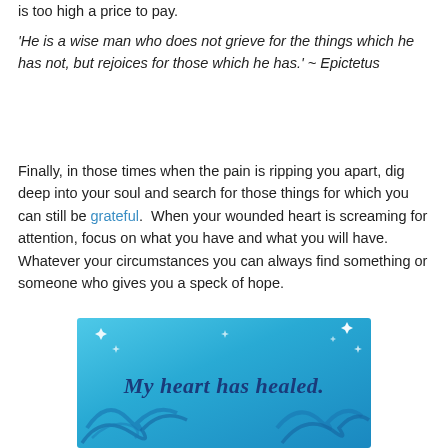is too high a price to pay.
'He is a wise man who does not grieve for the things which he has not, but rejoices for those which he has.' ~ Epictetus
Finally, in those times when the pain is ripping you apart, dig deep into your soul and search for those things for which you can still be grateful.  When your wounded heart is screaming for attention, focus on what you have and what you will have. Whatever your circumstances you can always find something or someone who gives you a speck of hope.
[Figure (illustration): Blue decorative background with swirl patterns, sparkle stars, and the text 'My heart has healed.' in dark blue cursive font]